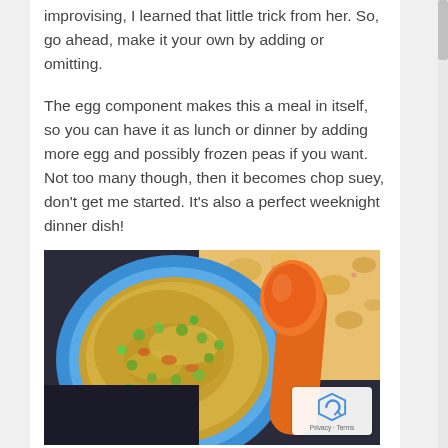improvising, I learned that little trick from her. So, go ahead, make it your own by adding or omitting.
The egg component makes this a meal in itself, so you can have it as lunch or dinner by adding more egg and possibly frozen peas if you want. Not too many though, then it becomes chop suey, don't get me started. It's also a perfect weeknight dinner dish!
[Figure (photo): A blue and white bowl filled with soup containing green peas, vegetables and egg, with an orange spoon beside it, placed on a colorful patterned cloth.]